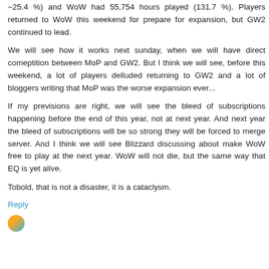~25.4 %) and WoW had 55,754 hours played (131.7 %). Players returned to WoW this weekend for prepare for expansion, but GW2 continued to lead.
We will see how it works next sunday, when we will have direct comeptition between MoP and GW2. But I think we will see, before this weekend, a lot of players delluded returning to GW2 and a lot of bloggers writing that MoP was the worse expansion ever...
If my previsions are right, we will see the bleed of subscriptions happening before the end of this year, not at next year. And next year the bleed of subscriptions will be so strong they will be forced to merge server. And I think we will see Blizzard discussing about make WoW free to play at the next year. WoW will not die, but the same way that EQ is yet alive.
Tobold, that is not a disaster, it is a cataclysm.
Reply